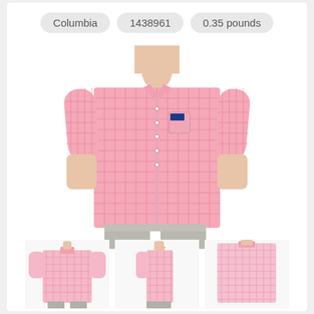Columbia
1438961
0.35 pounds
[Figure (photo): Front view of a man wearing a Columbia short-sleeve pink checkered button-down shirt with light gray pants]
[Figure (photo): Back view of a man wearing the same Columbia short-sleeve pink checkered button-down shirt]
[Figure (photo): Side profile view of a man wearing the Columbia short-sleeve pink checkered button-down shirt]
[Figure (photo): Back close-up view of a man wearing the Columbia short-sleeve pink checkered button-down shirt]